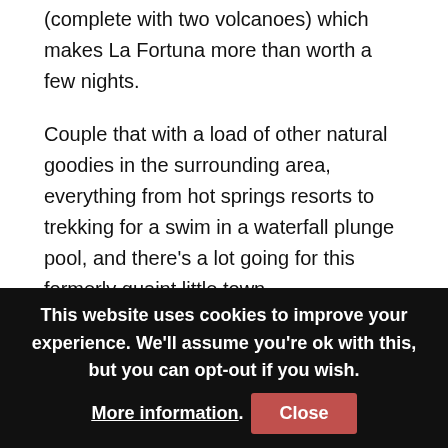(complete with two volcanoes) which makes La Fortuna more than worth a few nights.
Couple that with a load of other natural goodies in the surrounding area, everything from hot springs resorts to trekking for a swim in a waterfall plunge pool, and there's a lot going for this formerly quaint little town.
Depending on what you want to do in La Fortuna, and how long you want to do it for, finding accommodation right for the task can be a little tricky. There's a fair range of hostels here, so cherry picking the perfect one can take a while.
This website uses cookies to improve your experience. We'll assume you're ok with this, but you can opt-out if you wish. More information. Close